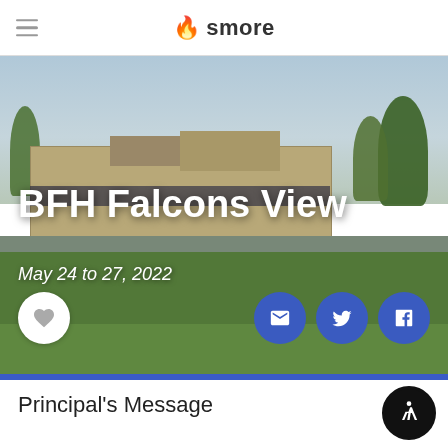smore
BFH Falcons View
May 24 to 27, 2022
[Figure (photo): School building exterior photo with grass lawn and trees, used as hero banner background]
Principal's Message